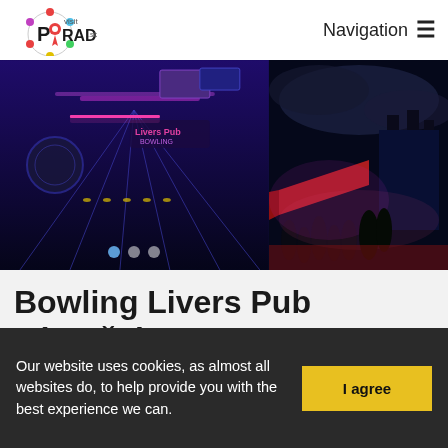visit POPRAD.sk  Navigation
[Figure (photo): Two photos side by side: left shows a bowling alley with neon blue and pink lights (Livers Pub Bowling), right shows an outdoor night event with pink/red lighting near a historic building.]
Bowling Livers Pub Zámoček
Our website uses cookies, as almost all websites do, to help provide you with the best experience we can.